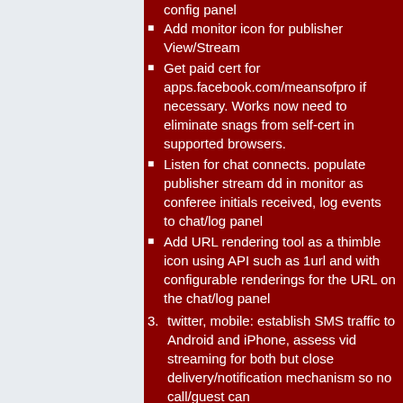config panel
Add monitor icon for publisher View/Stream
Get paid cert for apps.facebook.com/meansofpro if necessary. Works now need to eliminate snags from self-cert in supported browsers.
Listen for chat connects. populate publisher stream dd in monitor as conferee initials received, log events to chat/log panel
Add URL rendering tool as a thimble icon using API such as 1url and with configurable renderings for the URL on the chat/log panel
3. twitter, mobile: establish SMS traffic to Android and iPhone, assess vid streaming for both but close delivery/notification mechanism so no call/guest can